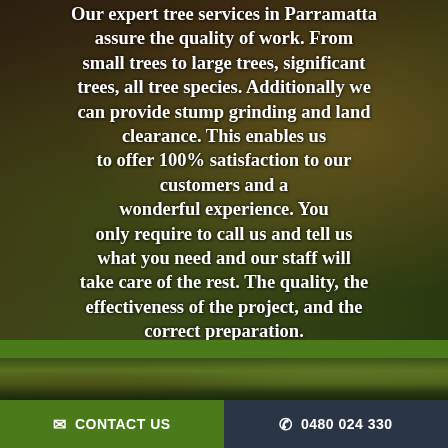[Figure (photo): Background photo of forest/trees with arborist worker wearing orange helmet visible on right side, dark green and brown tones]
Our expert tree services in Parramatta assure the quality of work. From small trees to large trees, significant trees, all tree species. Additionally we can provide stump grinding and land clearance. This enables us to offer 100% satisfaction to our customers and a wonderful experience. You only require to call us and tell us what you need and our staff will take care of the rest. The quality, the effectiveness of the project, and the correct preparation.
[Figure (photo): Narrow horizontal photo strip showing forest/tree scene with green foliage]
✉ CONTACT US   ✆ 0480 024 330